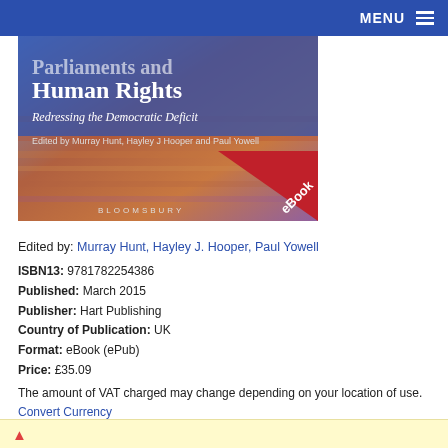MENU
[Figure (photo): Book cover of 'Parliaments and Human Rights: Redressing the Democratic Deficit', edited by Murray Hunt, Hayley J. Hooper and Paul Yowell, published by Bloomsbury/Hart, with an eBook badge in the bottom-right corner.]
Edited by: Murray Hunt, Hayley J. Hooper, Paul Yowell
ISBN13: 9781782254386
Published: March 2015
Publisher: Hart Publishing
Country of Publication: UK
Format: eBook (ePub)
Price: £35.09
The amount of VAT charged may change depending on your location of use.
Convert Currency